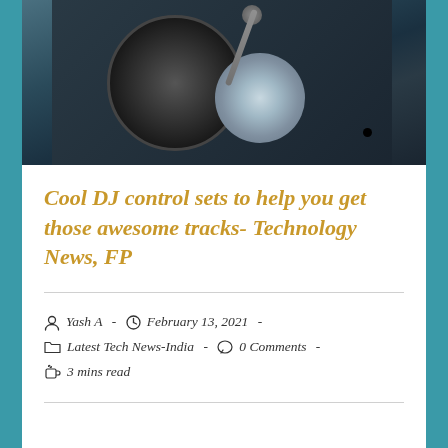[Figure (photo): A DJ turntable/record player photographed from above-angle, dark moody tones with a vinyl record on the platter and tonearm visible]
Cool DJ control sets to help you get those awesome tracks- Technology News, FP
Yash A  -  February 13, 2021  -  Latest Tech News-India  -  0 Comments  -  3 mins read